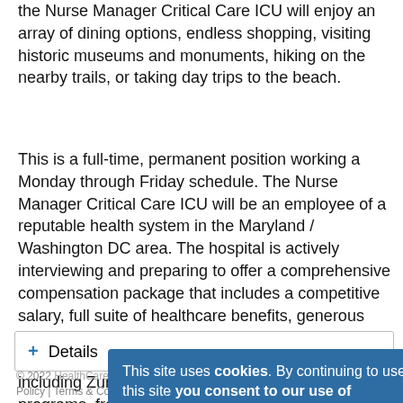the Nurse Manager Critical Care ICU will enjoy an array of dining options, endless shopping, visiting historic museums and monuments, hiking on the nearby trails, or taking day trips to the beach.
This is a full-time, permanent position working a Monday through Friday schedule. The Nurse Manager Critical Care ICU will be an employee of a reputable health system in the Maryland / Washington DC area. The hospital is actively interviewing and preparing to offer a comprehensive compensation package that includes a competitive salary, full suite of healthcare benefits, generous paid time off accrual schedule, tuition reimbursement, employee centered programs including Zumba classes, employee discount programs, free parking, and more! Don't wait, learn more and apply today!
+ Details
This site uses cookies. By continuing to use this site you consent to our use of cookies.
© 2022 HotLizard | HealthCareers | JobBoard.com software by HotLizard | Sitemap | Privacy Policy | Terms & Conditions